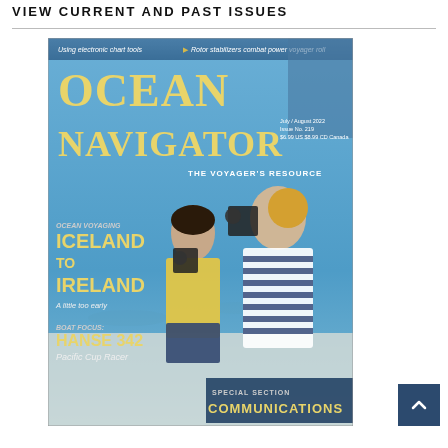VIEW CURRENT AND PAST ISSUES
[Figure (photo): Ocean Navigator magazine cover showing July/August 2022 issue. Features two women on a sailboat using sextants with ocean background. Title reads 'OCEAN NAVIGATOR - THE VOYAGER'S RESOURCE'. Cover stories: Using electronic chart tools, Rotor stabilizers combat power voyager roll, Ocean Voyaging Iceland to Ireland - A little too early, Boat Focus Hanse 342 Pacific Cup Racer, Special Section Communications.]